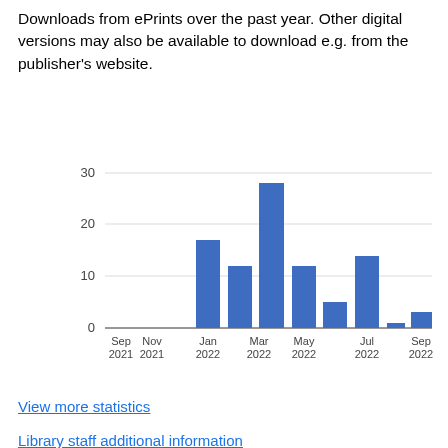Downloads from ePrints over the past year. Other digital versions may also be available to download e.g. from the publisher's website.
[Figure (bar-chart): ]
View more statistics
Library staff additional information